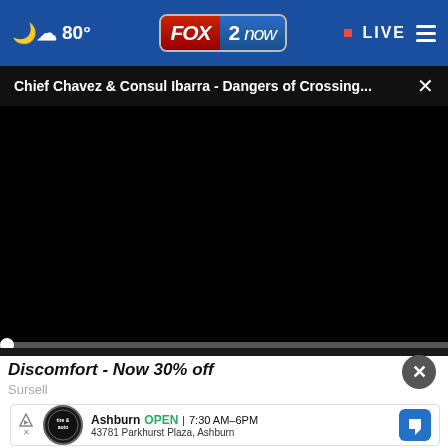☁ 80° | FOX 2 now | • LIVE
Chief Chavez & Consul Ibarra - Dangers of Crossing... ×
[Figure (screenshot): Black video player area, paused at 00:00 with play, mute, time, and fullscreen controls]
Discomfort - Now 30% off
Sursell
[Figure (screenshot): Bottom ad banner showing Tire & Auto logo, Ashburn OPEN 7:30AM–6PM, 43781 Parkhurst Plaza, Ashburn with navigation arrow icon]